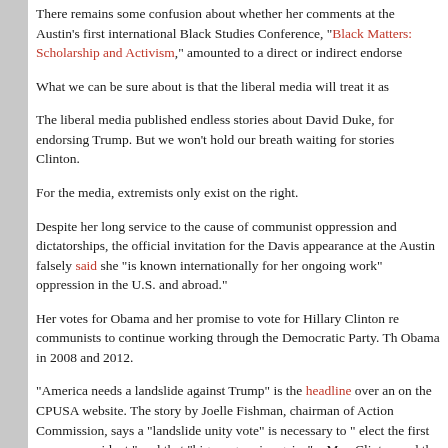There remains some confusion about whether her comments at the Austin's first international Black Studies Conference, "Black Matters: Scholarship and Activism," amounted to a direct or indirect endorsement...
What we can be sure about is that the liberal media will treat it as...
The liberal media published endless stories about David Duke, for endorsing Trump. But we won't hold our breath waiting for stories Clinton.
For the media, extremists only exist on the right.
Despite her long service to the cause of communist oppression and dictatorships, the official invitation for the Davis appearance at the Austin falsely said she "is known internationally for her ongoing work" oppression in the U.S. and abroad."
Her votes for Obama and her promise to vote for Hillary Clinton reflects communists to continue working through the Democratic Party. The Obama in 2008 and 2012.
"America needs a landslide against Trump" is the headline over an article on the CPUSA website. The story by Joelle Fishman, chairman of Action Commission, says a "landslide unity vote" is necessary to "elect the first woman president," and that "big progressive gains" occur if Mrs. Clinton and the Democrats win big.